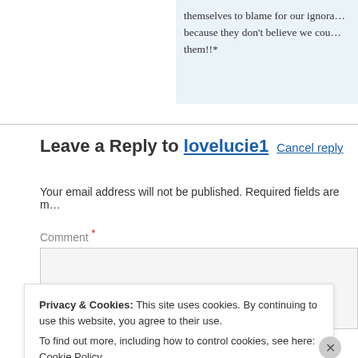themselves to blame for our ignora… because they don't believe we cou… them!!*
Leave a Reply to lovelucie1 Cancel reply
Your email address will not be published. Required fields are m…
Comment *
Privacy & Cookies: This site uses cookies. By continuing to use this website, you agree to their use. To find out more, including how to control cookies, see here: Cookie Policy
Close and accept